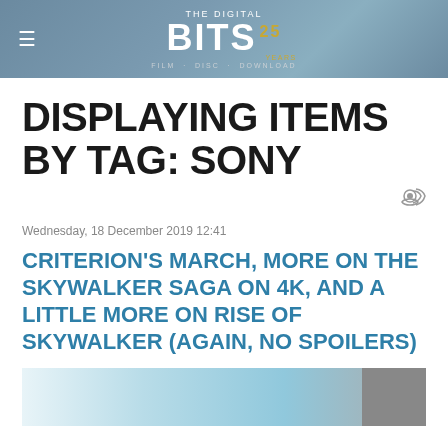THE DIGITAL BITS 25 YEARS | FILM · DISC · DOWNLOAD
DISPLAYING ITEMS BY TAG: SONY
Wednesday, 18 December 2019 12:41
CRITERION'S MARCH, MORE ON THE SKYWALKER SAGA ON 4K, AND A LITTLE MORE ON RISE OF SKYWALKER (AGAIN, NO SPOILERS)
[Figure (photo): Partial article thumbnail image at bottom of page]